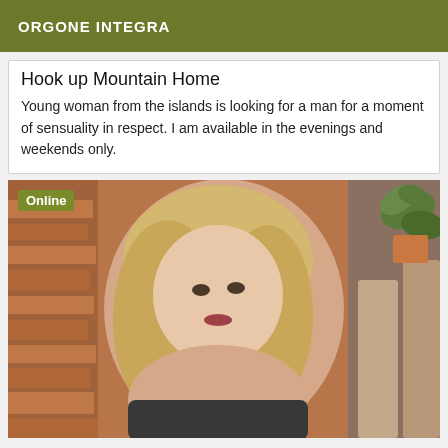ORGONE INTEGRA
Hook up Mountain Home
Young woman from the islands is looking for a man for a moment of sensuality in respect. I am available in the evenings and weekends only.
[Figure (photo): Portrait photo of a young blonde woman indoors, with brick and stone background and potted plant. An 'Online' badge appears in the top-left corner of the image.]